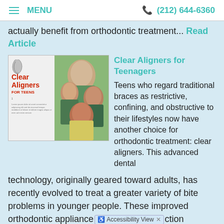≡ MENU   (212) 644-6360
actually benefit from orthodontic treatment... Read Article
[Figure (photo): Magazine article cover showing clear aligners on left side and group of teenagers on right side, titled 'Clear Aligners FOR TEENS']
Clear Aligners for Teenagers
Teens who regard traditional braces as restrictive, confining, and obstructive to their lifestyles now have another choice for orthodontic treatment: clear aligners. This advanced dental technology, originally geared toward adults, has recently evolved to treat a greater variety of bite problems in younger people. These improved orthodontic appliance ction